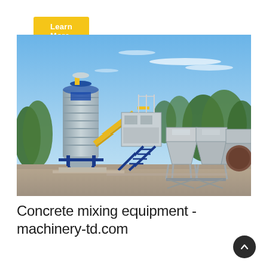Learn More
[Figure (photo): Outdoor concrete mixing plant facility showing a tall cylindrical cement silo (gray with blue metal frame) on the left, connected by a yellow conveyor belt system to a central mixing unit with stairs, and multiple aggregate hopper bins on the right. Blue sky with scattered clouds in background, green trees behind the plant.]
Concrete mixing equipment - machinery-td.com